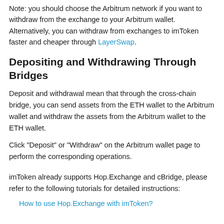Note: you should choose the Arbitrum network if you want to withdraw from the exchange to your Arbitrum wallet. Alternatively, you can withdraw from exchanges to imToken faster and cheaper through LayerSwap.
Depositing and Withdrawing Through Bridges
Deposit and withdrawal mean that through the cross-chain bridge, you can send assets from the ETH wallet to the Arbitrum wallet and withdraw the assets from the Arbitrum wallet to the ETH wallet.
Click "Deposit" or "Withdraw" on the Arbitrum wallet page to perform the corresponding operations.
imToken already supports Hop.Exchange and cBridge, please refer to the following tutorials for detailed instructions:
How to use Hop.Exchange with imToken?